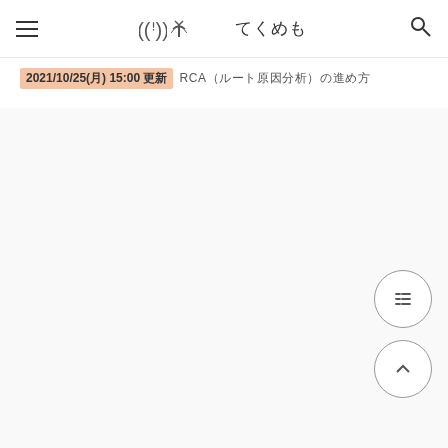てくめも
2021/10/25(月) 15:00 更新 RCA（ルート原因分析）の進め方
[Figure (screenshot): Main content area - mostly blank/white page body with two floating action buttons on the bottom right: a table-of-contents icon button and an up-arrow scroll-to-top button.]